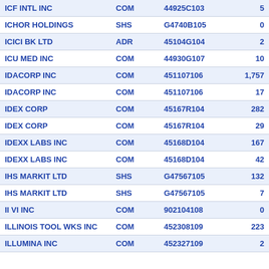| ICF INTL INC | COM | 44925C103 | 5 |
| ICHOR HOLDINGS | SHS | G4740B105 | 0 |
| ICICI BK LTD | ADR | 45104G104 | 2 |
| ICU MED INC | COM | 44930G107 | 10 |
| IDACORP INC | COM | 451107106 | 1,757 |
| IDACORP INC | COM | 451107106 | 17 |
| IDEX CORP | COM | 45167R104 | 282 |
| IDEX CORP | COM | 45167R104 | 29 |
| IDEXX LABS INC | COM | 45168D104 | 167 |
| IDEXX LABS INC | COM | 45168D104 | 42 |
| IHS MARKIT LTD | SHS | G47567105 | 132 |
| IHS MARKIT LTD | SHS | G47567105 | 7 |
| II VI INC | COM | 902104108 | 0 |
| ILLINOIS TOOL WKS INC | COM | 452308109 | 223 |
| ILLUMINA INC | COM | 452327109 | 2 |